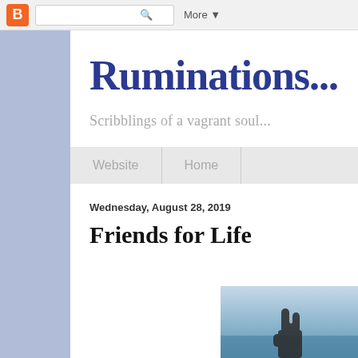Blogger toolbar with icon, search box, and More menu
Ruminations...
Scribblings of a vagrant soul...
Website  Home
Wednesday, August 28, 2019
Friends for Life
[Figure (photo): Partial photo showing a hand raised against a light sky/sea background, bottom right corner]